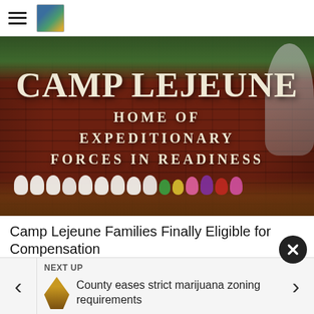Camp Lejeune news site header with hamburger menu and logo
[Figure (photo): Brick entrance sign for Camp Lejeune reading 'CAMP LEJEUNE HOME OF EXPEDITIONARY FORCES IN READINESS' with flowers and wreaths at the base and trees in the background]
Camp Lejeune Families Finally Eligible for Compensation
camplejeunelawsuitsettlement.c
NEXT UP
County eases strict marijuana zoning requirements